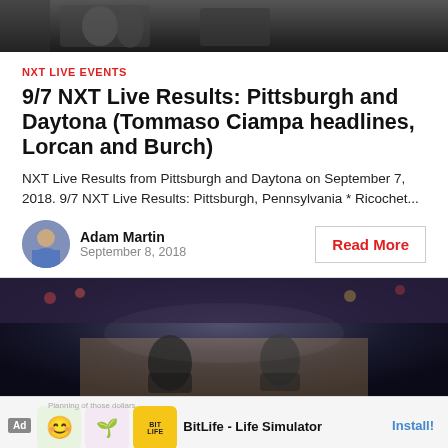[Figure (photo): Top portion of a wrestling event image showing performers in an arena setting, dark background with crowd visible]
NXT LIVE EVENTS
9/7 NXT Live Results: Pittsburgh and Daytona (Tommaso Ciampa headlines, Lorcan and Burch)
NXT Live Results from Pittsburgh and Daytona on September 7, 2018. 9/7 NXT Live Results: Pittsburgh, Pennsylvania * Ricochet...
Adam Martin
September 8, 2018
Read More
[Figure (photo): Wrestling event photo showing two wrestlers in a wrestling ring with a large crowd in the background under arena lighting]
[Figure (photo): Advertisement banner for BitLife - Life Simulator app showing app icon with emoji and sperm icon, with Install button]